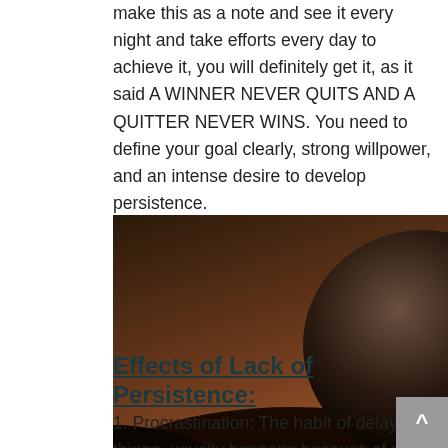make this as a note and see it every night and take efforts every day to achieve it, you will definitely get it, as it said A WINNER NEVER QUITS AND A QUITTER NEVER WINS. You need to define your goal clearly, strong willpower, and an intense desire to develop persistence.
[Figure (photo): Silhouette of a person pushing a large boulder uphill against a dramatic sunset sky, symbolizing persistence and effort.]
Effects of Lack of Persistence:
1. Procrastination: The habit of delaying things, usually happens because of not having a strong